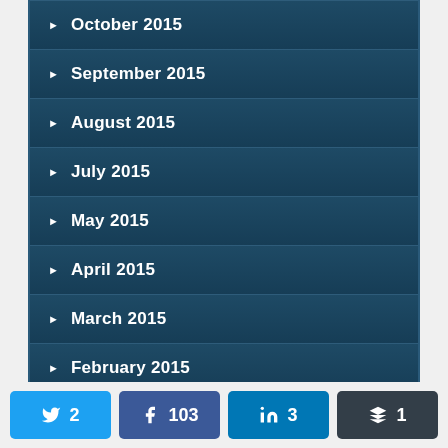October 2015
September 2015
August 2015
July 2015
May 2015
April 2015
March 2015
February 2015
January 2015
December 2014
Twitter: 2, Facebook: 103, LinkedIn: 3, Buffer: 1